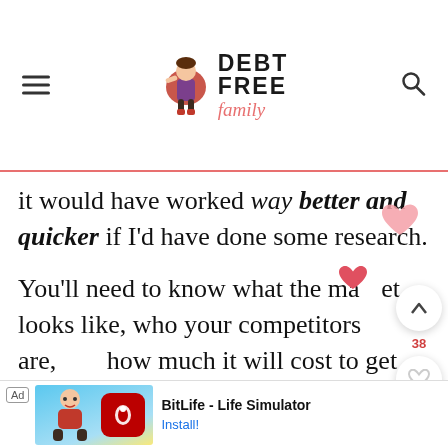DEBT FREE family — website header with logo
it would have worked way better and quicker if I'd have done some research.
You'll need to know what the market looks like, who your competitors are, and how much it will cost to get started.
So many mums I know all seem to be starting their own business ventures and while
[Figure (screenshot): BitLife - Life Simulator advertisement banner at the bottom of the page with Ad badge, cartoon character image, app logo, title and Install button]